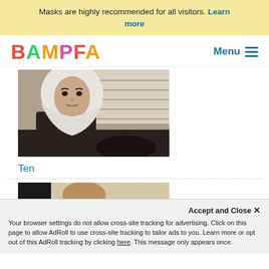Masks are highly recommended for all visitors. Learn more
[Figure (logo): BAMPFA logo with multicolored letters and Menu icon]
[Figure (photo): Woman wearing white hijab seated in a car, looking forward]
Ten
[Figure (photo): Man wearing glasses seated in a car, partially visible]
Accept and Close ×
Your browser settings do not allow cross-site tracking for advertising. Click on this page to allow AdRoll to use cross-site tracking to tailor ads to you. Learn more or opt out of this AdRoll tracking by clicking here. This message only appears once.